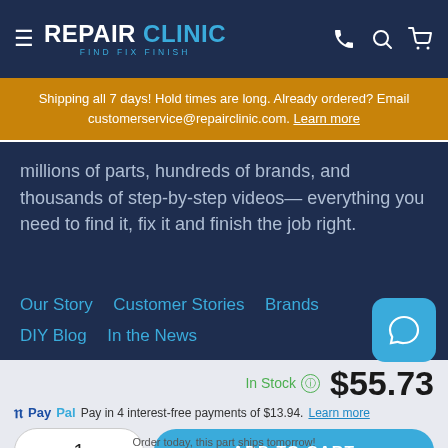[Figure (logo): RepairClinic logo with hamburger menu and header icons (phone, search, cart) on dark navy background]
Shipping all 7 days! Hold times are long. Already ordered? Email customerservice@repairclinic.com. Learn more
millions of parts, hundreds of brands, and thousands of step-by-step videos— everything you need to find it, fix it and finish the job right.
Our Story   Customer Stories   Brands
DIY Blog   In the News
In Stock  $55.73
PayPal Pay in 4 interest-free payments of $13.94. Learn more
1
ADD TO CART
Order today, this part ships tomorrow!